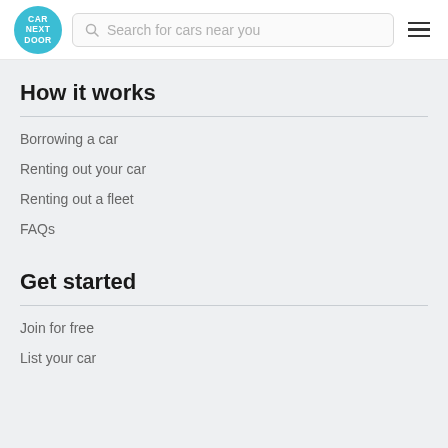[Figure (logo): Car Next Door circular teal logo with white text]
Search for cars near you
How it works
Borrowing a car
Renting out your car
Renting out a fleet
FAQs
Get started
Join for free
List your car